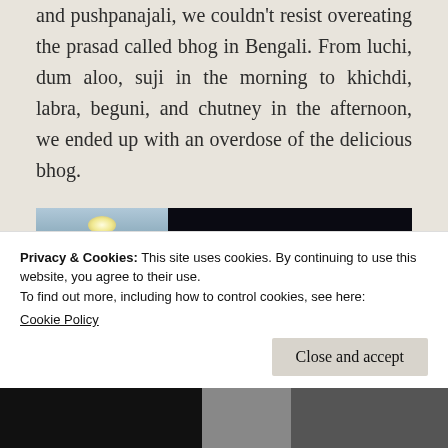and pushpanajali, we couldn't resist overeating the prasad called bhog in Bengali. From luchi, dum aloo, suji in the morning to khichdi, labra, beguni, and chutney in the afternoon, we ended up with an overdose of the delicious bhog.
[Figure (photo): Interior photo showing a decorated Hindu deity idol/shrine on the left with colorful artwork against a teal/turquoise background with a ceiling light, and a large dark/black area on the right.]
Privacy & Cookies: This site uses cookies. By continuing to use this website, you agree to their use.
To find out more, including how to control cookies, see here:
Cookie Policy
Close and accept